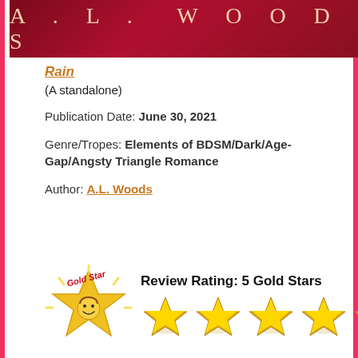[Figure (photo): Book cover with dark red background and author name A.L. WOODS in light text]
Rain
(A standalone)
Publication Date: June 30, 2021
Genre/Tropes: Elements of BDSM/Dark/Age-Gap/Angsty Triangle Romance
Author: A.L. Woods
[Figure (illustration): Gold Star review badge logo with a star character and 'Gold Star' text, plus 5 gold star rating icons]
Review Rating: 5 Gold Stars